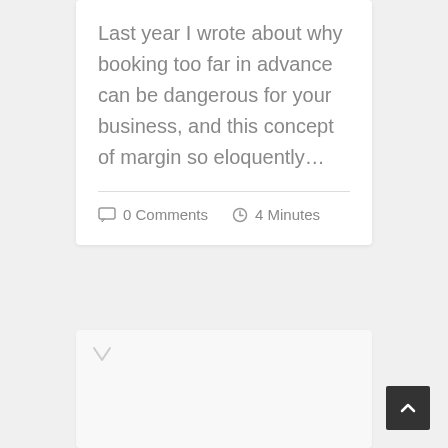Last year I wrote about why booking too far in advance can be dangerous for your business, and this concept of margin so eloquently…
0 Comments   4 Minutes
[Figure (screenshot): Partially visible card with a small icon in the top-left corner, representing another blog post card below the fold]